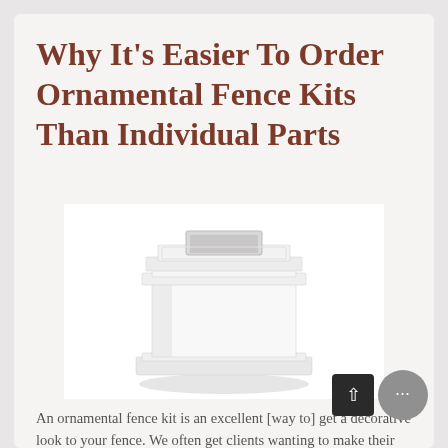Why It's Easier To Order Ornamental Fence Kits Than Individual Parts
[Figure (photo): A white ornamental fence post cap/base component — a decorative square hollow box with tiered molding details, shown on a white background.]
An ornamental fence kit is an excellent [way to] get a decorative look to your fence. We often get clients wanting to make their fence that bit